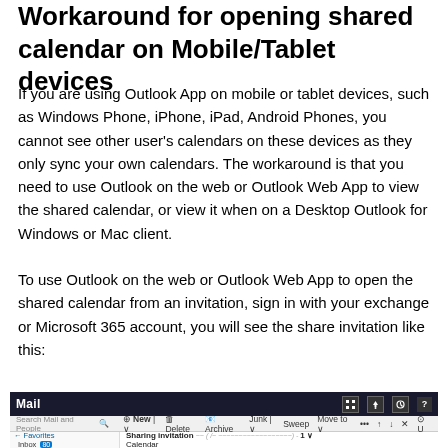Workaround for opening shared calendar on Mobile/Tablet devices
If you are using Outlook App on mobile or tablet devices, such as Windows Phone, iPhone, iPad, Android Phones, you cannot see other user's calendars on these devices as they only sync your own calendars. The workaround is that you need to use Outlook on the web or Outlook Web App to view the shared calendar, or view it when on a Desktop Outlook for Windows or Mac client.
To use Outlook on the web or Outlook Web App to open the shared calendar from an invitation, sign in with your exchange or Microsoft 365 account, you will see the share invitation like this:
[Figure (screenshot): Screenshot of Outlook Web App Mail interface showing the Mail header bar with icons, a toolbar with New, Delete, Archive, Junk, Sweep, Move to buttons, and a left navigation pane with Favorites and Inbox, and a sharing invitation email in the message list area.]